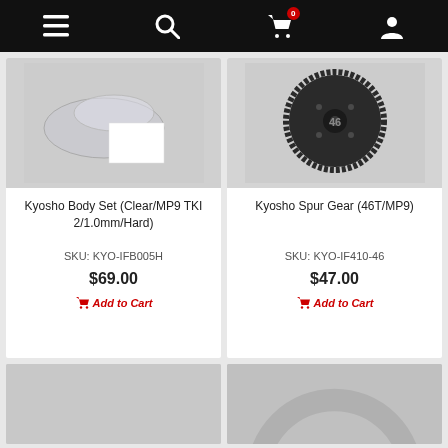Navigation bar with menu, search, cart (0 items), and user account icons
[Figure (photo): Kyosho Body Set (Clear/MP9 TKI 2/1.0mm/Hard) product photo — clear plastic body parts on grey background]
Kyosho Body Set (Clear/MP9 TKI 2/1.0mm/Hard)
SKU: KYO-IFB005H
$69.00
Add to Cart
[Figure (photo): Kyosho Spur Gear (46T/MP9) product photo — black spur gear labeled 46 on grey background]
Kyosho Spur Gear (46T/MP9)
SKU: KYO-IF410-46
$47.00
Add to Cart
[Figure (photo): Partial product image — grey background, product partially visible at bottom]
[Figure (photo): Partial product image — grey background with circular part partially visible at bottom]